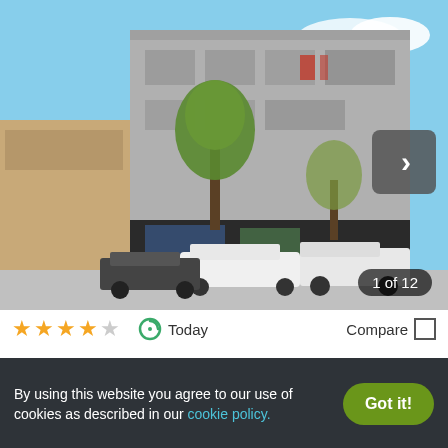[Figure (photo): Street-level photo of a multi-story apartment building at 425 E 18th St, Oakland. Grey concrete facade with trees in front. Vehicles parked on the street. Photo carousel showing 1 of 12 images.]
★★★★☆  Today  Compare □
425 E 18th St
425 E 18Th, Oakland, CA 94606
Contact for availability
Verified
Studio
By using this website you agree to our use of cookies as described in our cookie policy.